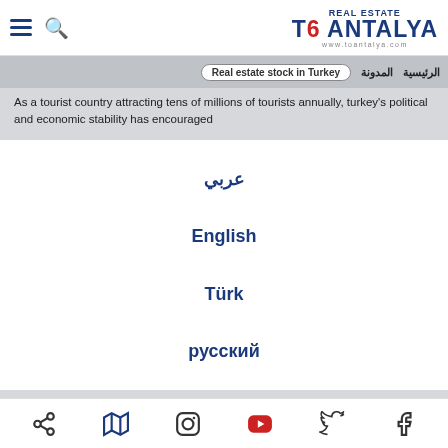TO ANTALYA REAL ESTATE
Real estate stock in Turkey | المدونة | الرئيسية
As a tourist country attracting tens of millions of tourists annually, turkey's political and economic stability has encouraged
عربي
English
Türk
русский
The number of properties purchased by Iraqis in 2019 reached 7,596, followed by Iranians with 5,423, Russians 3,893, Saudis with 2,208, and Afghans 5,596.
Real estate market forecast for 2020
Social media icons: share, map, instagram, youtube, twitter, facebook